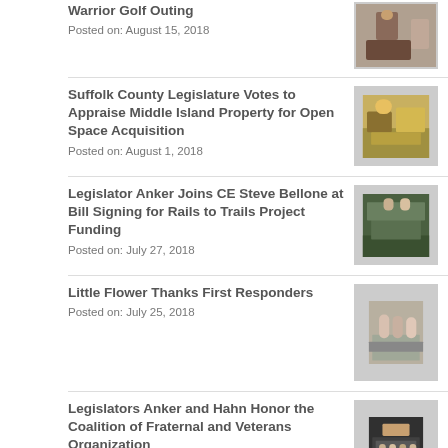Warrior Golf Outing
Posted on: August 15, 2018
Suffolk County Legislature Votes to Appraise Middle Island Property for Open Space Acquisition
Posted on: August 1, 2018
Legislator Anker Joins CE Steve Bellone at Bill Signing for Rails to Trails Project Funding
Posted on: July 27, 2018
Little Flower Thanks First Responders
Posted on: July 25, 2018
Legislators Anker and Hahn Honor the Coalition of Fraternal and Veterans Organization
Posted on: July 23, 2018